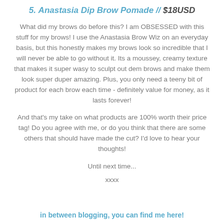5. Anastasia Dip Brow Pomade // $18USD
What did my brows do before this? I am OBSESSED with this stuff for my brows! I use the Anastasia Brow Wiz on an everyday basis, but this honestly makes my brows look so incredible that I will never be able to go without it. Its a moussey, creamy texture that makes it super wasy to sculpt out dem brows and make them look super duper amazing. Plus, you only need a teeny bit of product for each brow each time - definitely value for money, as it lasts forever!
And that's my take on what products are 100% worth their price tag! Do you agree with me, or do you think that there are some others that should have made the cut? I'd love to hear your thoughts!
Until next time...
xxxx
in between blogging, you can find me here!